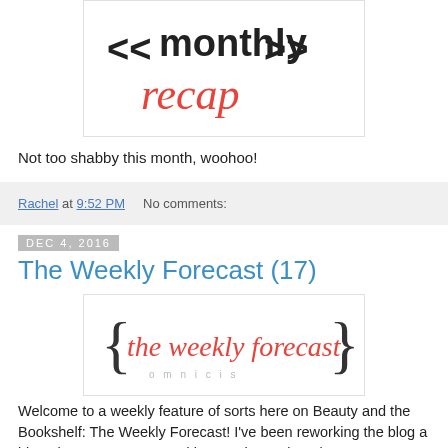[Figure (logo): Monthly recap logo with << monthly recap >> text in black and red handwritten style]
Not too shabby this month, woohoo!
Rachel at 9:52 PM    No comments:
Dec 4, 2016
The Weekly Forecast (17)
[Figure (logo): The weekly forecast logo with curly braces and script text in red, with subtitle in light gray]
Welcome to a weekly feature of sorts here on Beauty and the Bookshelf: The Weekly Forecast! I've been reworking the blog a bit, trying to post more and be consistent, but also to